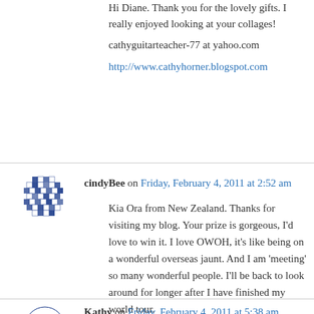Hi Diane. Thank you for the lovely gifts. I really enjoyed looking at your collages! cathyguitarteacher-77 at yahoo.com http://www.cathyhorner.blogspot.com
cindyBee on Friday, February 4, 2011 at 2:52 am
Kia Ora from New Zealand. Thanks for visiting my blog. Your prize is gorgeous, I'd love to win it. I love OWOH, it's like being on a wonderful overseas jaunt. And I am 'meeting' so many wonderful people. I'll be back to look around for longer after I have finished my world tour.
Kathy on Friday, February 4, 2011 at 5:38 am